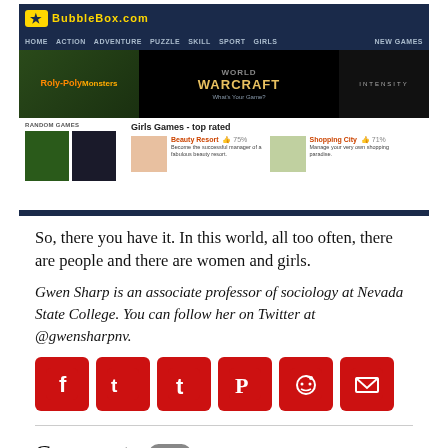[Figure (screenshot): Screenshot of BubbleBox.com gaming website showing navigation menu (HOME, ACTION, ADVENTURE, PUZZLE, SKILL, SPORT, GIRLS, NEW GAMES), World of Warcraft banner ad, Roly-Poly Monsters game thumbnail, and Girls Games top rated section featuring Beauty Resort (75%) and Shopping City (71%)]
So, there you have it.  In this world, all too often, there are people and there are women and girls.
Gwen Sharp is an associate professor of sociology at Nevada State College. You can follow her on Twitter at @gwensharpnv.
[Figure (infographic): Six red social media sharing icons: Facebook, Twitter, Tumblr, Pinterest, Reddit, Email]
Comments 218